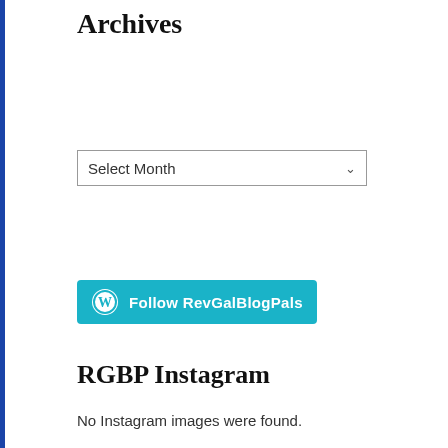Archives
Select Month
[Figure (other): Follow RevGalBlogPals button - teal/cyan WordPress follow button with WordPress logo and text 'Follow RevGalBlogPals']
RGBP Instagram
No Instagram images were found.
[Figure (photo): Row of thumbnail images: woman portrait, red heart, blue owl/character, cat/animal, young man portrait, woman portrait, mountain/Dihedral logo]
[Figure (photo): Second row of thumbnail images: purple/pink pattern, food/dessert, green icon, geometric pattern, partial images]